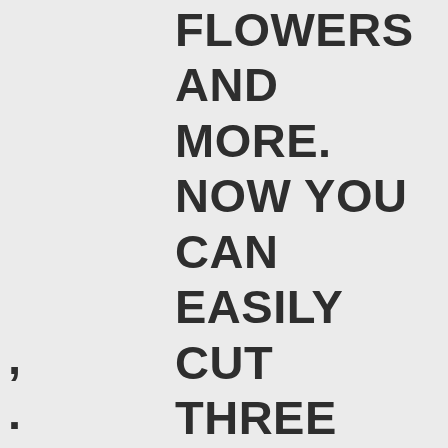FLOWERS AND MORE. NOW YOU CAN EASILY CUT THREE SIZES OF PERFECT HEARTS FOR ANY PROJECT YOU IMAGINE.